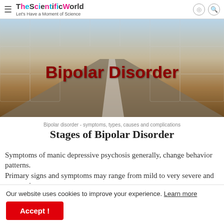TheScientificWorld - Let's Have a Moment of Science
[Figure (photo): Banner image for Bipolar Disorder article with puzzle pieces overlay on a desert road background, bold dark red text reading 'Bipolar Disorder']
Bipolar disorder - symptoms, types, causes and complications
Stages of Bipolar Disorder
Symptoms of manic depressive psychosis generally, change behavior patterns. Primary signs and symptoms may range from mild to very severe and very serious. There may also be periods of life during which there is no effect.
Our website uses cookies to improve your experience. Learn more